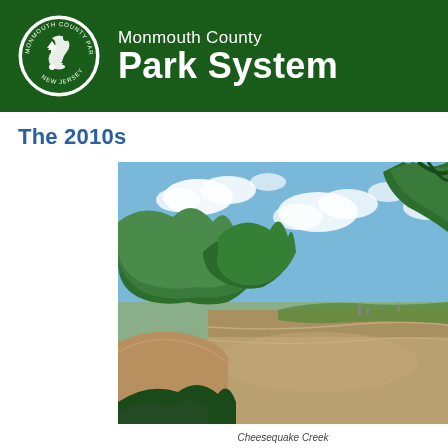Monmouth County Park System
The 2010s
[Figure (photo): Scenic view of a calm river or bay with lush green trees along the shoreline, a sandy bank visible on the left, blue sky with white clouds, and distant docks or structures across the water.]
Cheesequake Creek